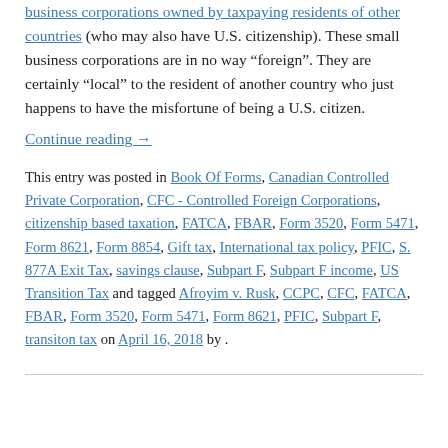(who may also have U.S. citizenship). These small business corporations are in no way “foreign”. They are certainly “local” to the resident of another country who just happens to have the misfortune of being a U.S. citizen.
Continue reading →
This entry was posted in Book Of Forms, Canadian Controlled Private Corporation, CFC - Controlled Foreign Corporations, citizenship based taxation, FATCA, FBAR, Form 3520, Form 5471, Form 8621, Form 8854, Gift tax, International tax policy, PFIC, S. 877A Exit Tax, savings clause, Subpart F, Subpart F income, US Transition Tax and tagged Afroyim v. Rusk, CCPC, CFC, FATCA, FBAR, Form 3520, Form 5471, Form 8621, PFIC, Subpart F, transiton tax on April 16, 2018 by .